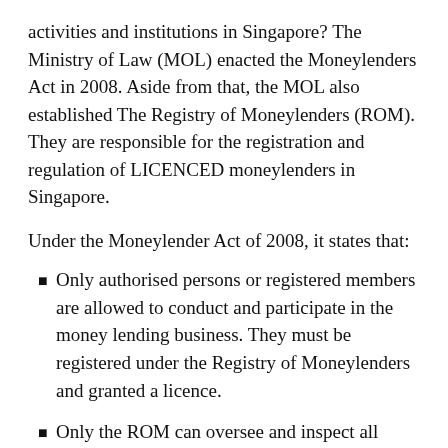activities and institutions in Singapore? The Ministry of Law (MOL) enacted the Moneylenders Act in 2008. Aside from that, the MOL also established The Registry of Moneylenders (ROM). They are responsible for the registration and regulation of LICENCED moneylenders in Singapore.
Under the Moneylender Act of 2008, it states that:
Only authorised persons or registered members are allowed to conduct and participate in the money lending business. They must be registered under the Registry of Moneylenders and granted a licence.
Only the ROM can oversee and inspect all licensing, testing, and reviewing that involves the registration of the moneylending applicant.